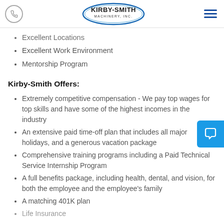Kirby-Smith Machinery, Inc. — navigation header
Excellent Locations
Excellent Work Environment
Mentorship Program
Kirby-Smith Offers:
Extremely competitive compensation - We pay top wages for top skills and have some of the highest incomes in the industry
An extensive paid time-off plan that includes all major holidays, and a generous vacation package
Comprehensive training programs including a Paid Technical Service Internship Program
A full benefits package, including health, dental, and vision, for both the employee and the employee's family
A matching 401K plan
Life Insurance